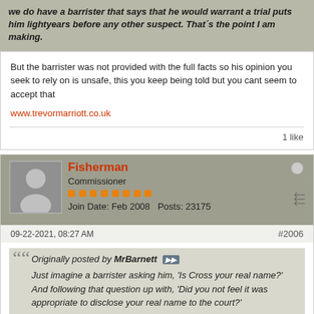we do have a barrister that says that he would warrant a trial puts him lightyears before any other suspect. That's the point I am making.
But the barrister was not provided with the full facts so his opinion you seek to rely on is unsafe, this you keep being told but you cant seem to accept that
www.trevormarriott.co.uk
1 like
Fisherman
Commissioner
Join Date: Feb 2008  Posts: 23175
09-22-2021, 08:27 AM
#2006
Originally posted by MrBarnett
Just imagine a barrister asking him, 'Is Cross your real name?' And following that question up with, 'Did you not feel it was appropriate to disclose your real name to the court?'